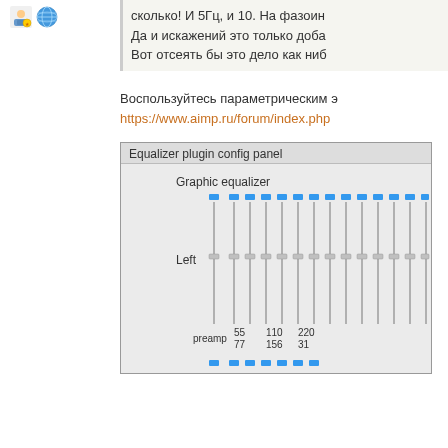[Figure (illustration): User avatar icon and globe/internet icon]
сколько! И 5Гц, и 10. На фазоин
Да и искажений это только доба
Вот отсеять бы это дело как ниб
Воспользуйтесь параметрическим э
https://www.aimp.ru/forum/index.php
[Figure (screenshot): Equalizer plugin config panel showing Graphic equalizer with vertical sliders and frequency labels: preamp, 55, 77, 110,156, 220, 31. Blue indicator dots at top. Left channel label visible.]